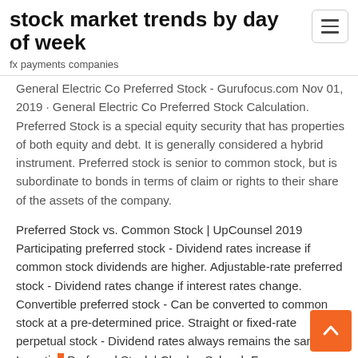stock market trends by day of week
fx payments companies
General Electric Co Preferred Stock - Gurufocus.com Nov 01, 2019 · General Electric Co Preferred Stock Calculation. Preferred Stock is a special equity security that has properties of both equity and debt. It is generally considered a hybrid instrument. Preferred stock is senior to common stock, but is subordinate to bonds in terms of claim or rights to their share of the assets of the company.
Preferred Stock vs. Common Stock | UpCounsel 2019 Participating preferred stock - Dividend rates increase if common stock dividends are higher. Adjustable-rate preferred stock - Dividend rates change if interest rates change. Convertible preferred stock - Can be converted to common stock at a pre-determined price. Straight or fixed-rate perpetual stock - Dividend rates always remains the same. Investing Preferred Stock | Charles Schwab For many preferred sto... missed coupon payment doesn't necessarily constitute a